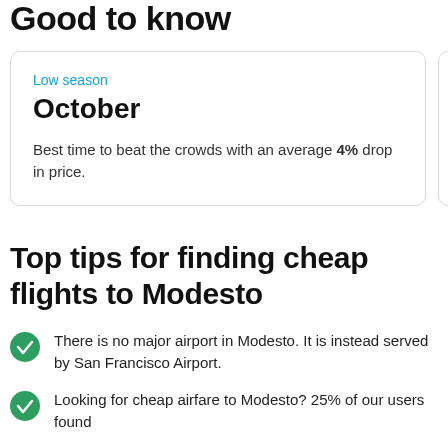Good to know
Low season
October
Best time to beat the crowds with an average 4% drop in price.
High season
July
Most popular time to fly with an average price increase.
Top tips for finding cheap flights to Modesto
There is no major airport in Modesto. It is instead served by San Francisco Airport.
Looking for cheap airfare to Modesto? 25% of our users found